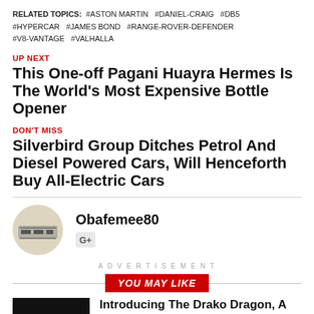RELATED TOPICS: #ASTON MARTIN #DANIEL-CRAIG #DB5 #HYPERCAR #JAMES BOND #RANGE-ROVER-DEFENDER #V8-VANTAGE #VALHALLA
UP NEXT
This One-off Pagani Huayra Hermes Is The World's Most Expensive Bottle Opener
DON'T MISS
Silverbird Group Ditches Petrol And Diesel Powered Cars, Will Henceforth Buy All-Electric Cars
Obafemee80
ADVERTISEMENT
YOU MAY LIKE
Introducing The Drako Dragon, A 2000 Hp Electric Luxury Hyper SUV